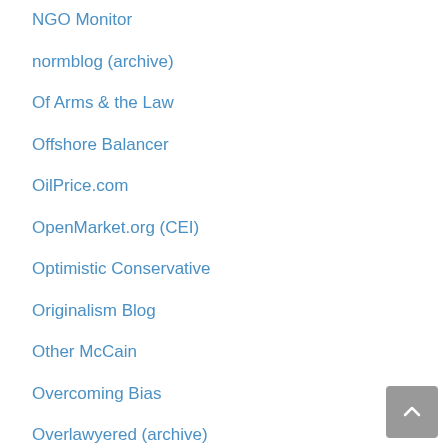NGO Monitor
normblog (archive)
Of Arms & the Law
Offshore Balancer
OilPrice.com
OpenMarket.org (CEI)
Optimistic Conservative
Originalism Blog
Other McCain
Overcoming Bias
Overlawyered (archive)
Paleofuture
Paleofuture